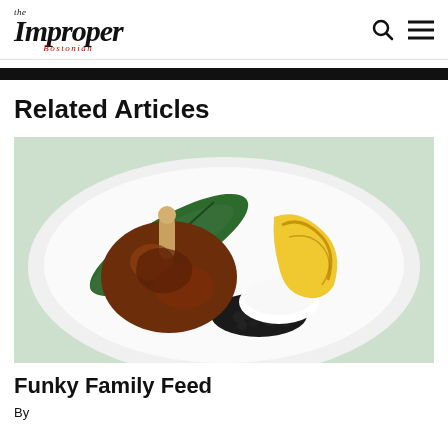the Improper Bostonian
Related Articles
[Figure (photo): A white plate with a braised/roasted chicken leg on a banana leaf, rice, black beans, and a grilled plantain.]
Funky Family Feed
By...